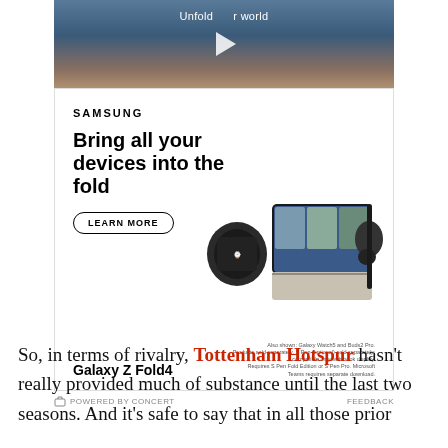[Figure (screenshot): Samsung Galaxy Z Fold4 advertisement. Top: video thumbnail with play button and text 'Unfold your world'. Below: white ad panel with 'SAMSUNG' brand, headline 'Bring all your devices into the fold', 'LEARN MORE' button, product images of Galaxy Watch, Galaxy Z Fold4 open showing video call, earbuds, and S Pen. Bottom section shows 'Galaxy Z Fold4' product name and fine print.]
G POWERED BY CONCERT    FEEDBACK
So, in terms of rivalry, Tottenham Hotspur hasn't really provided much of substance until the last two seasons. And it's safe to say that in all those prior